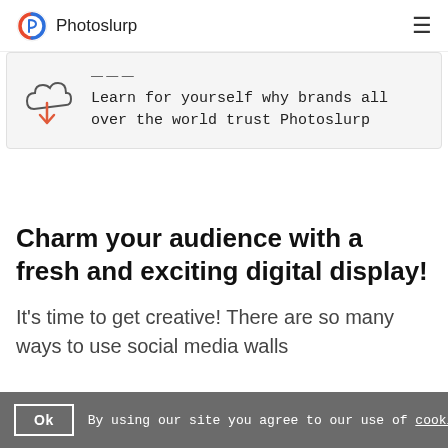Photoslurp
[Figure (screenshot): Dropdown menu card showing a cloud download icon (outline cloud with orange downward arrow) and text: 'Learn for yourself why brands all over the world trust Photoslurp']
Charm your audience with a fresh and exciting digital display!
It's time to get creative! There are so many ways to use social media walls
Ok  By using our site you agree to our use of cookies